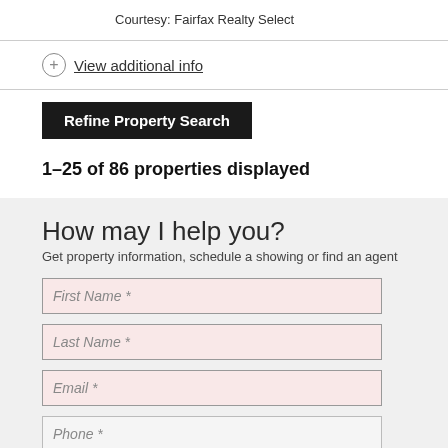Courtesy: Fairfax Realty Select
View additional info
Refine Property Search
1–25 of 86 properties displayed
How may I help you?
Get property information, schedule a showing or find an agent
First Name *
Last Name *
Email *
Phone *